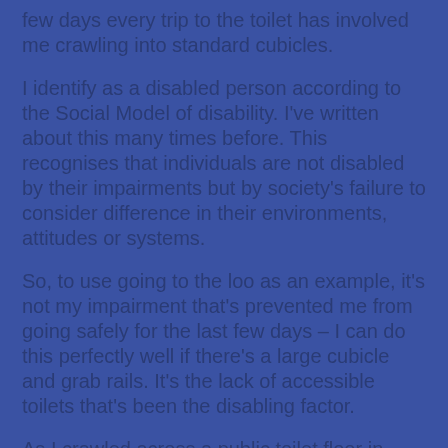few days every trip to the toilet has involved me crawling into standard cubicles.
I identify as a disabled person according to the Social Model of disability. I've written about this many times before. This recognises that individuals are not disabled by their impairments but by society's failure to consider difference in their environments, attitudes or systems.
So, to use going to the loo as an example, it's not my impairment that's prevented me from going safely for the last few days – I can do this perfectly well if there's a large cubicle and grab rails. It's the lack of accessible toilets that's been the disabling factor.
As I crawled across a public toilet floor in Zagreb,